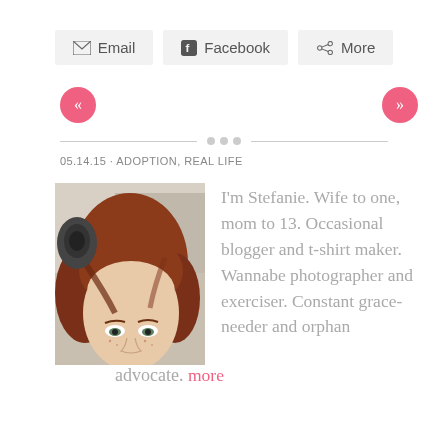[Figure (infographic): Share buttons row: Email, Facebook, More]
[Figure (infographic): Navigation arrows: left (previous) and right (next) pink circle buttons]
[Figure (infographic): Decorative divider with horizontal lines and three dots]
05.14.15 · ADOPTION, REAL LIFE
[Figure (photo): Close-up photo of a woman with red hair, looking up slightly, taken outdoors]
I'm Stefanie. Wife to one, mom to 13. Occasional blogger and t-shirt maker. Wannabe photographer and exerciser. Constant grace-needer and orphan advocate. more